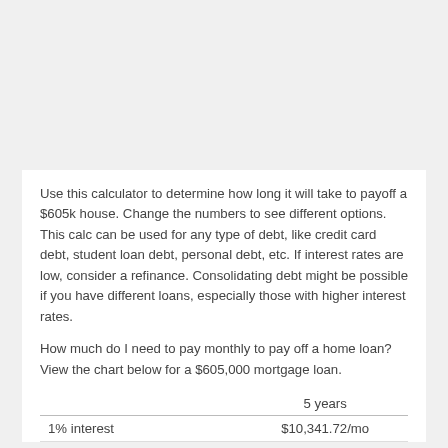Use this calculator to determine how long it will take to payoff a $605k house. Change the numbers to see different options. This calc can be used for any type of debt, like credit card debt, student loan debt, personal debt, etc. If interest rates are low, consider a refinance. Consolidating debt might be possible if you have different loans, especially those with higher interest rates.
How much do I need to pay monthly to pay off a home loan? View the chart below for a $605,000 mortgage loan.
|  | 5 years |
| --- | --- |
| 1% interest | $10,341.72/mo |